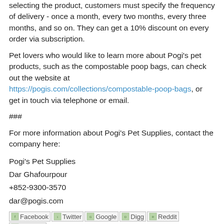selecting the product, customers must specify the frequency of delivery - once a month, every two months, every three months, and so on. They can get a 10% discount on every order via subscription.
Pet lovers who would like to learn more about Pogi's pet products, such as the compostable poop bags, can check out the website at https://pogis.com/collections/compostable-poop-bags, or get in touch via telephone or email.
###
For more information about Pogi's Pet Supplies, contact the company here:
Pogi's Pet Supplies
Dar Ghafourpour
+852-9300-3570
dar@pogis.com
[Figure (other): Social media share buttons: Facebook, Twitter, Google, Digg, Reddit, LinkedIn]